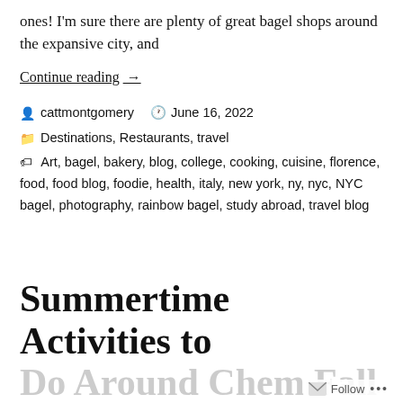ones! I'm sure there are plenty of great bagel shops around the expansive city, and
Continue reading →
cattmontgomery  June 16, 2022  Destinations, Restaurants, travel  Art, bagel, bakery, blog, college, cooking, cuisine, florence, food, food blog, foodie, health, italy, new york, ny, nyc, NYC bagel, photography, rainbow bagel, study abroad, travel blog
Summertime Activities to Do Around Chem Fall